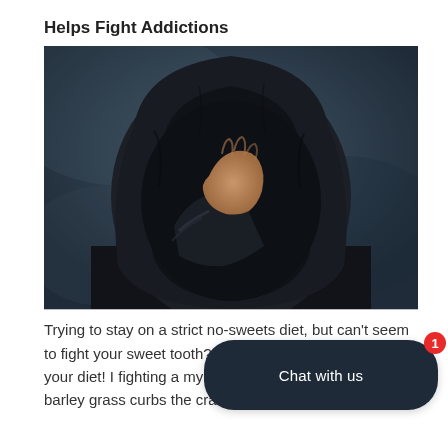Helps Fight Addictions
[Figure (photo): Person wearing a dark hoodie with their face obscured by their raised hand, against a dark textured background, conveying distress or shame.]
Trying to stay on a strict no-sweets diet, but can't seem to fight your sweet tooth? Try adding barley grass juice into your diet! It helps in fighting a myriad of addictions. The glutamic acid in barley grass curbs the craving for coffee, alcohol,